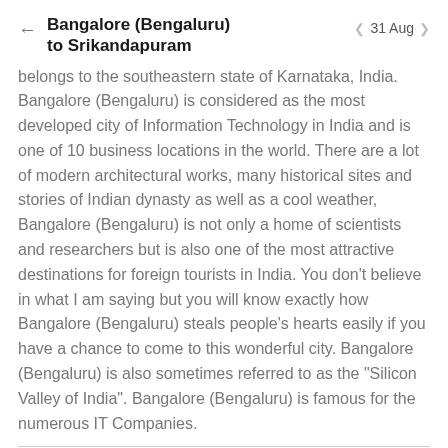Bangalore (Bengaluru) to Srikandapuram  31 Aug
belongs to the southeastern state of Karnataka, India. Bangalore (Bengaluru) is considered as the most developed city of Information Technology in India and is one of 10 business locations in the world. There are a lot of modern architectural works, many historical sites and stories of Indian dynasty as well as a cool weather, Bangalore (Bengaluru) is not only a home of scientists and researchers but is also one of the most attractive destinations for foreign tourists in India. You don't believe in what I am saying but you will know exactly how Bangalore (Bengaluru) steals people's hearts easily if you have a chance to come to this wonderful city. Bangalore (Bengaluru) is also sometimes referred to as the "Silicon Valley of India". Bangalore (Bengaluru) is famous for the numerous IT Companies.
ABOUT SRIKANDAPURAM